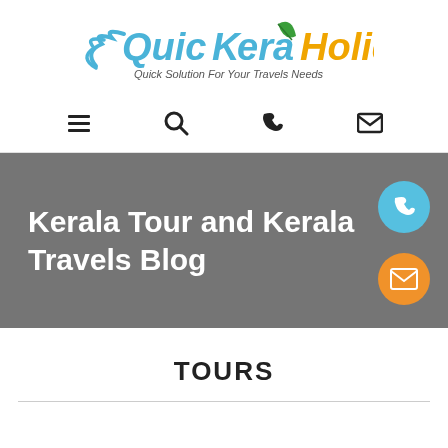[Figure (logo): QuicKerala Holidays logo with tagline 'Quick Solution For Your Travels Needs']
☰  🔍  📞  ✉
Kerala Tour and Kerala Travels Blog
TOURS